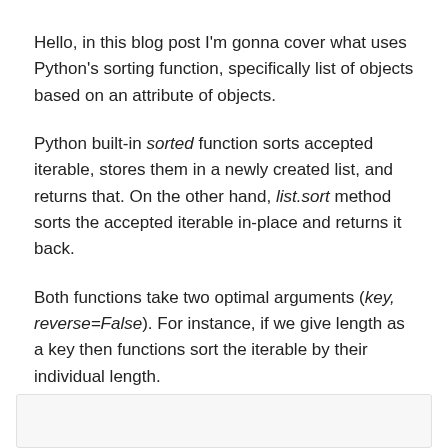Hello, in this blog post I'm gonna cover what uses Python's sorting function, specifically list of objects based on an attribute of objects.
Python built-in sorted function sorts accepted iterable, stores them in a newly created list, and returns that. On the other hand, list.sort method sorts the accepted iterable in-place and returns it back.
Both functions take two optimal arguments (key, reverse=False). For instance, if we give length as a key then functions sort the iterable by their individual length.
Let create a list of strings:
[Figure (screenshot): Empty code block / code editor area]